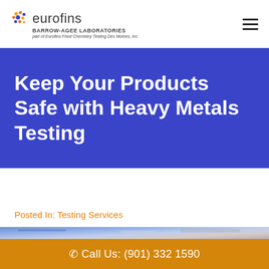[Figure (logo): Eurofins Barrow-Agee Laboratories logo with colorful dot cluster icon, company name, and subtitle text]
Keep Your Products Safe with Heavy Metals Testing
Posted In: Testing Services
[Figure (photo): Blurred laboratory photo showing scientist in blue gloves holding lab equipment]
Call Us: (901) 332 1590